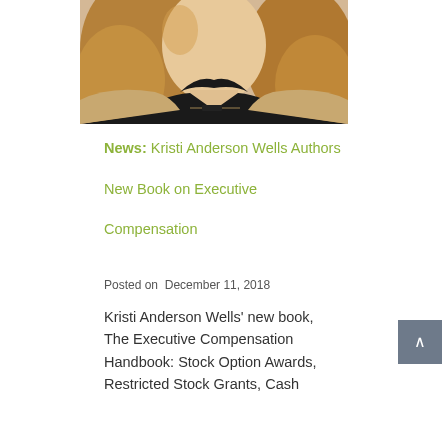[Figure (photo): Portrait photo of Kristi Anderson Wells, a woman with long blonde-brown hair wearing a black top and tan blazer with a bar necklace, cropped at shoulder/chest level]
News: Kristi Anderson Wells Authors New Book on Executive Compensation
Posted on  December 11, 2018
Kristi Anderson Wells' new book, The Executive Compensation Handbook: Stock Option Awards, Restricted Stock Grants, Cash